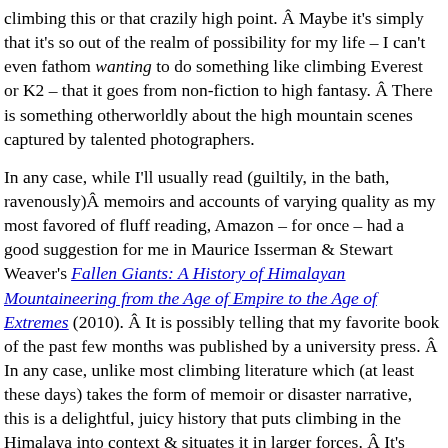climbing this or that crazily high point.  Maybe it's simply that it's so out of the realm of possibility for my life – I can't even fathom wanting to do something like climbing Everest or K2 – that it goes from non-fiction to high fantasy.  There is something otherworldly about the high mountain scenes captured by talented photographers.
In any case, while I'll usually read (guiltily, in the bath, ravenously) memoirs and accounts of varying quality as my most favored of fluff reading, Amazon – for once – had a good suggestion for me in Maurice Isserman & Stewart Weaver's Fallen Giants: A History of Himalayan Mountaineering from the Age of Empire to the Age of Extremes (2010).  It is possibly telling that my favorite book of the past few months was published by a university press.  In any case, unlike most climbing literature which (at least these days) takes the form of memoir or disaster narrative, this is a delightful, juicy history that puts climbing in the Himalaya into context & situates it in larger forces.  It's really fun and really interesting – and quite a